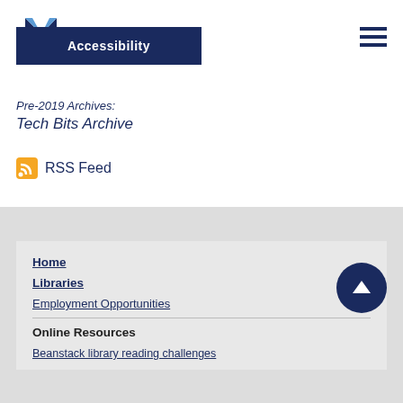[Figure (logo): Library logo with blue diamond/N shape]
Accessibility
[Figure (other): Hamburger menu icon (three horizontal lines)]
Pre-2019 Archives:
Tech Bits Archive
RSS Feed
Home
Libraries
Employment Opportunities
Online Resources
Beanstack library reading challenges